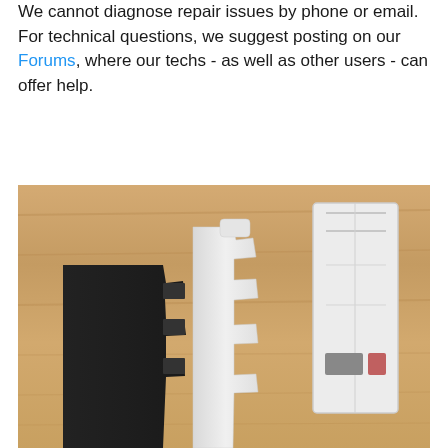We cannot diagnose repair issues by phone or email. For technical questions, we suggest posting on our Forums, where our techs - as well as other users - can offer help.
[Figure (photo): Photo of three disassembled plastic parts laid on a wooden surface: a black plastic frame piece on the left, a white plastic bracket/clip piece in the center, and a white plastic rectangular housing on the right.]